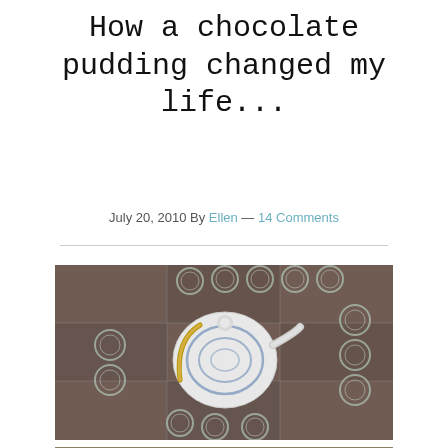How a chocolate pudding changed my life...
July 20, 2010 By Ellen — 14 Comments
[Figure (photo): Top-down view of a white and blue ceramic teapot surrounded by multiple glass bowls/cups arranged on a dark tiled surface.]
[Figure (photo): Partial view of another photo at the bottom of the page, appears to show bottles or jars.]